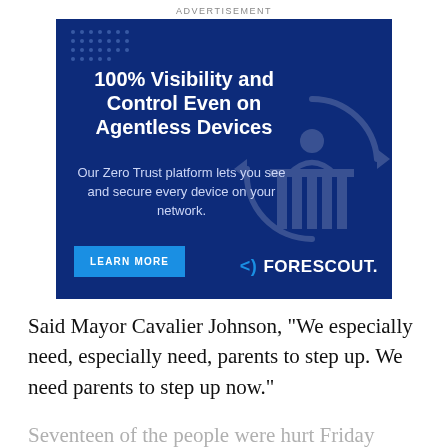ADVERTISEMENT
[Figure (illustration): Forescout advertisement banner with dark blue background. Headline: '100% Visibility and Control Even on Agentless Devices'. Body text: 'Our Zero Trust platform lets you see and secure every device on your network.' Blue 'LEARN MORE' button and Forescout logo in lower right.]
Said Mayor Cavalier Johnson, “We especially need, especially need, parents to step up. We need parents to step up now.”
Seventeen of the people were hurt Friday when